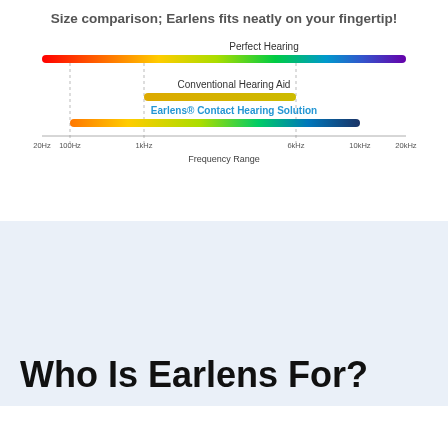Size comparison; Earlens fits neatly on your fingertip!
[Figure (infographic): Frequency range comparison chart showing three horizontal bars: 'Perfect Hearing' spanning 20Hz to 20kHz in a rainbow gradient, 'Conventional Hearing Aid' spanning approximately 1kHz to 6kHz in yellow/gold, and 'Earlens® Contact Hearing Solution' spanning approximately 100Hz to 10kHz in a multicolor gradient. X-axis labeled 'Frequency Range' with markers at 20Hz, 100Hz, 1kHz, 6kHz, 10kHz, 20kHz.]
Who Is Earlens For?